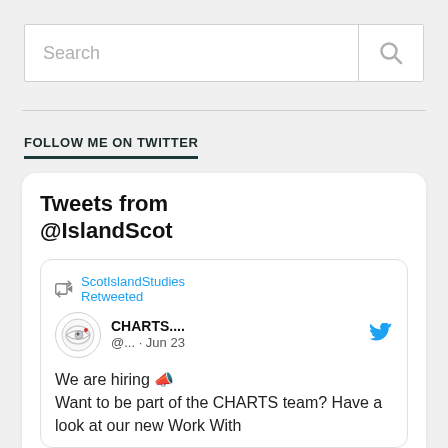[Figure (screenshot): Search bar with text placeholder 'Search' and magnifying glass icon button on the right]
FOLLOW ME ON TWITTER
[Figure (screenshot): Embedded Twitter widget showing 'Tweets from @IslandScot' with a tweet card from ScotIslandStudies Retweeted, CHARTS.... @... Jun 23, with tweet text: We are hiring 📣 Want to be part of the CHARTS team? Have a look at our new Work With]